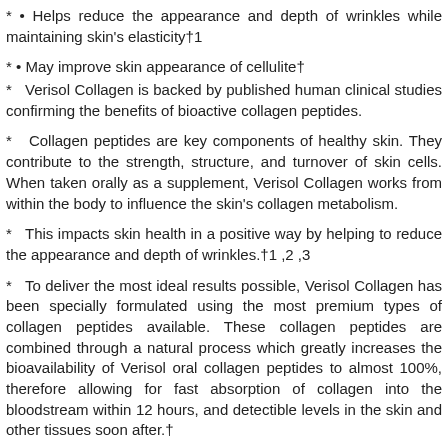*  • Helps reduce the appearance and depth of wrinkles while maintaining skin's elasticity†1
*  • May improve skin appearance of cellulite†
*   Verisol Collagen is backed by published human clinical studies confirming the benefits of bioactive collagen peptides.
*   Collagen peptides are key components of healthy skin. They contribute to the strength, structure, and turnover of skin cells. When taken orally as a supplement, Verisol Collagen works from within the body to influence the skin's collagen metabolism.
*   This impacts skin health in a positive way by helping to reduce the appearance and depth of wrinkles.†1 ,2 ,3
*   To deliver the most ideal results possible, Verisol Collagen has been specially formulated using the most premium types of collagen peptides available. These collagen peptides are combined through a natural process which greatly increases the bioavailability of Verisol oral collagen peptides to almost 100%, therefore allowing for fast absorption of collagen into the bloodstream within 12 hours, and detectible levels in the skin and other tissues soon after.†